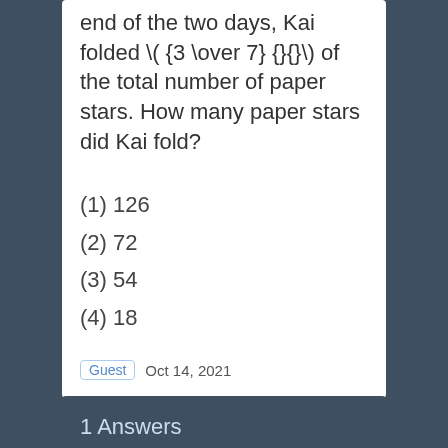end of the two days, Kai folded \( {3 \over 7} {}{}\) of the total number of paper stars. How many paper stars did Kai fold?
(1) 126
(2) 72
(3) 54
(4) 18
Guest   Oct 14, 2021
1 Answers